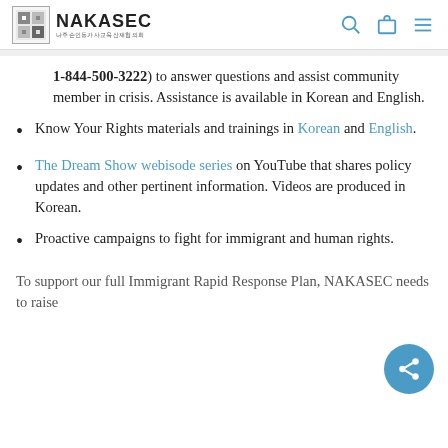NAKASEC
1-844-500-3222) to answer questions and assist community member in crisis. Assistance is available in Korean and English.
Know Your Rights materials and trainings in Korean and English.
The Dream Show webisode series on YouTube that shares policy updates and other pertinent information. Videos are produced in Korean.
Proactive campaigns to fight for immigrant and human rights.
To support our full Immigrant Rapid Response Plan, NAKASEC needs to raise